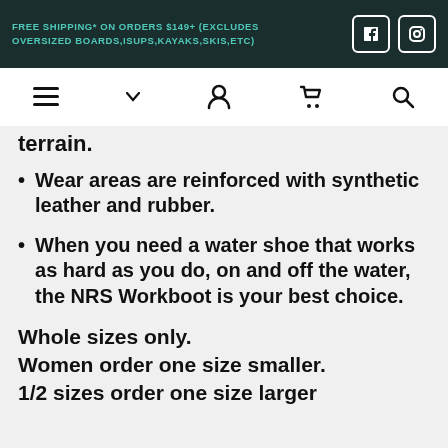FREE SHIPPING* ON ORDERS $149+ (EXCLUDES OVERSIZED BOARDS,ISUPS,KAYAKS,SKIS,ETC)
terrain.
Wear areas are reinforced with synthetic leather and rubber.
When you need a water shoe that works as hard as you do, on and off the water, the NRS Workboot is your best choice.
Whole sizes only.
Women order one size smaller.
1/2 sizes order one size larger